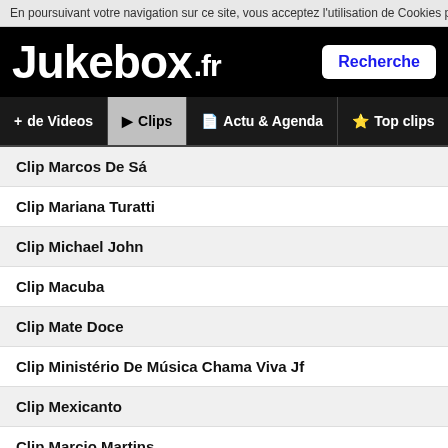En poursuivant votre navigation sur ce site, vous acceptez l'utilisation de Cookies po
Jukebox.fr
+ de Videos | Clips | Actu & Agenda | Top clips | + Playlist
Clip Marcos De Sá
Clip Mariana Turatti
Clip Michael John
Clip Macuba
Clip Mate Doce
Clip Ministério De Música Chama Viva Jf
Clip Mexicanto
Clip Marcio Martins
Clip Marconi Notaro
Clip Maurinho Junior
Clip Montinegro